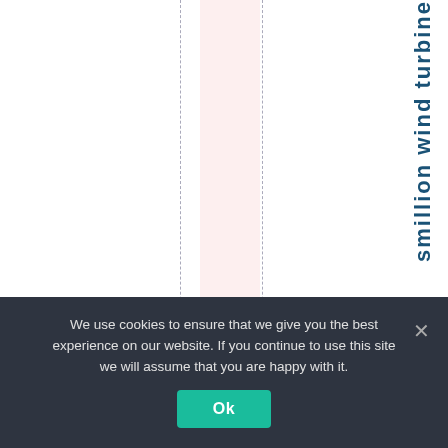[Figure (other): Partial view of a chart or diagram with dashed vertical grid lines and a pink shaded column band. Vertical rotated bold teal text on the right side reads 'smillion wind turbine' (partially cut off at top and bottom).]
We use cookies to ensure that we give you the best experience on our website. If you continue to use this site we will assume that you are happy with it.